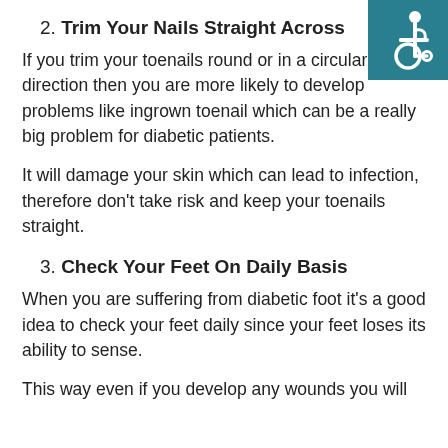[Figure (illustration): Wheelchair accessibility icon — white person in wheelchair on teal/dark cyan background, top-right corner]
2. Trim Your Nails Straight Across
If you trim your toenails round or in a circular direction then you are more likely to develop problems like ingrown toenail which can be a really big problem for diabetic patients.
It will damage your skin which can lead to infection, therefore don't take risk and keep your toenails straight.
3. Check Your Feet On Daily Basis
When you are suffering from diabetic foot it's a good idea to check your feet daily since your feet loses its ability to sense.
This way even if you develop any wounds you will